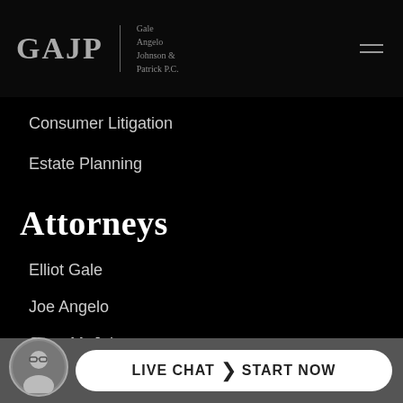GAJP Gale Angelo Johnson & Patrick P.C.
Consumer Litigation
Estate Planning
Attorneys
Elliot Gale
Joe Angelo
Scott M. Johnson
Lauren Patrick
Natalya Kalinovskiy
Richard E. Quiles
Ke...oux
[Figure (photo): Live chat widget with avatar photo of attorney and 'LIVE CHAT START NOW' button]